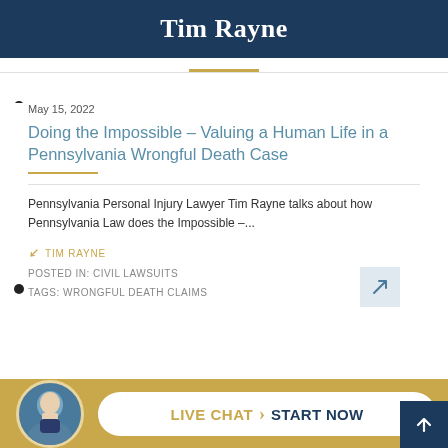Tim Rayne
May 15, 2022
Doing the Impossible – Valuing a Human Life in a Pennsylvania Wrongful Death Case
Pennsylvania Personal Injury Lawyer Tim Rayne talks about how Pennsylvania Law does the Impossible –...
TIM RAYNE
POSTED IN: CIVIL LAWSUITS
TAGS: WRONGFUL DEATH CLAIMS
LIVE CHAT  START NOW